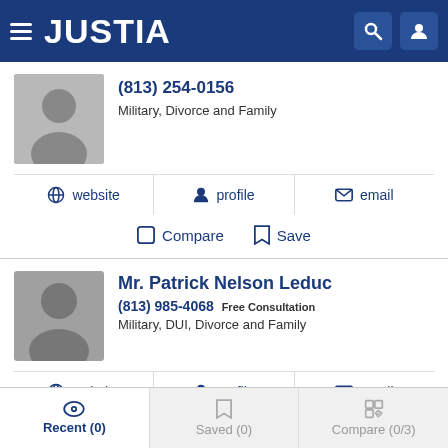JUSTIA
(813) 254-0156
Military, Divorce and Family
website | profile | email
Compare | Save
Mr. Patrick Nelson Leduc
(813) 985-4068 Free Consultation
Military, DUI, Divorce and Family
website | profile | email
Compare | Save
Recent (0) | Saved (0) | Compare (0/3)